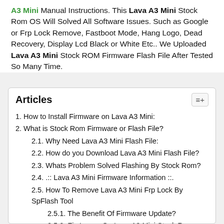A3 Mini Manual Instructions. This Lava A3 Mini Stock Rom OS Will Solved All Software Issues. Such as Google or Frp Lock Remove, Fastboot Mode, Hang Logo, Dead Recovery, Display Lcd Black or White Etc.. We Uploaded Lava A3 Mini Stock ROM Firmware Flash File After Tested So Many Time.
Articles
1. How to Install Firmware on Lava A3 Mini:
2. What is Stock Rom Firmware or Flash File?
2.1. Why Need Lava A3 Mini Flash File:
2.2. How do you Download Lava A3 Mini Flash File?
2.3. Whats Problem Solved Flashing By Stock Rom?
2.4. .:: Lava A3 Mini Firmware Information ::.
2.5. How To Remove Lava A3 Mini Frp Lock By SpFlash Tool
2.5.1. The Benefit Of Firmware Update?
2.5.2. Fix Issues On Lava A3 Mini Stock Rom:
2.5.3. Requirements To Flash Lava A3 Mini Stock